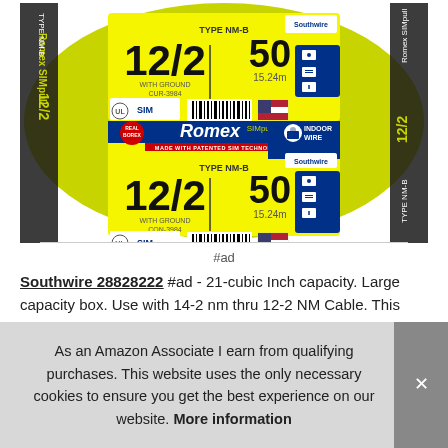[Figure (photo): Romex SIMpull Type NM-B 12/2 50FT (15.24m) wire coil by Southwire. Yellow coiled electrical cable with product label showing 12/2, 50 FT, SIM technology, Real Borex logo, Indoor Wire.]
#ad
Southwire 28828222 #ad - 21-cubic Inch capacity. Large capacity box. Use with 14-2 nm thru 12-2 NM Cable. This product is UL Listed. Ul listed. Above ground household use. 1/2- 1/8l met grou
As an Amazon Associate I earn from qualifying purchases. This website uses the only necessary cookies to ensure you get the best experience on our website. More information